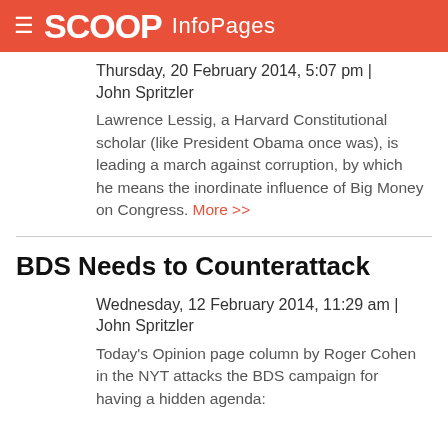SCOOP InfoPages
Thursday, 20 February 2014, 5:07 pm | John Spritzler
Lawrence Lessig, a Harvard Constitutional scholar (like President Obama once was), is leading a march against corruption, by which he means the inordinate influence of Big Money on Congress. More >>
BDS Needs to Counterattack
Wednesday, 12 February 2014, 11:29 am | John Spritzler
Today's Opinion page column by Roger Cohen in the NYT attacks the BDS campaign for having a hidden agenda: